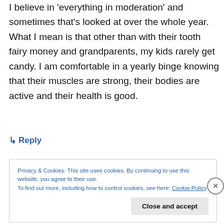I believe in 'everything in moderation' and sometimes that's looked at over the whole year. What I mean is that other than with their tooth fairy money and grandparents, my kids rarely get candy. I am comfortable in a yearly binge knowing that their muscles are strong, their bodies are active and their health is good.
↳ Reply
Privacy & Cookies: This site uses cookies. By continuing to use this website, you agree to their use.
To find out more, including how to control cookies, see here: Cookie Policy
Close and accept